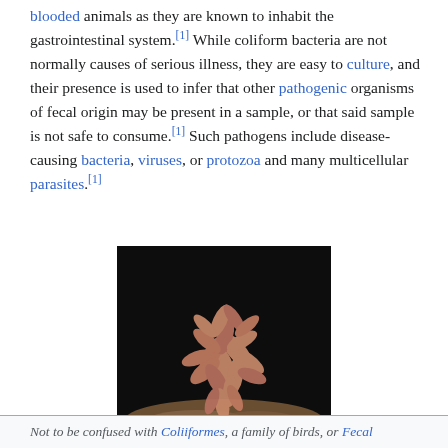blooded animals as they are known to inhabit the gastrointestinal system.[1] While coliform bacteria are not normally causes of serious illness, they are easy to culture, and their presence is used to infer that other pathogenic organisms of fecal origin may be present in a sample, or that said sample is not safe to consume.[1] Such pathogens include disease-causing bacteria, viruses, or protozoa and many multicellular parasites.[1]
[Figure (photo): Scanning electron microscope image of Escherichia coli bacteria on a dark background, showing rod-shaped bacteria clustered together on a granular surface. Scale bar shows 1 μm in the bottom right corner.]
Escherichia coli
Not to be confused with Coliiformes, a family of birds, or Fecal